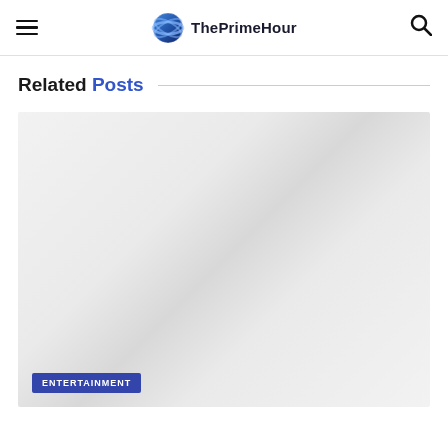ThePrimeHour
Related Posts
[Figure (photo): Placeholder image card with light gray gradient background and ENTERTAINMENT category tag at bottom left]